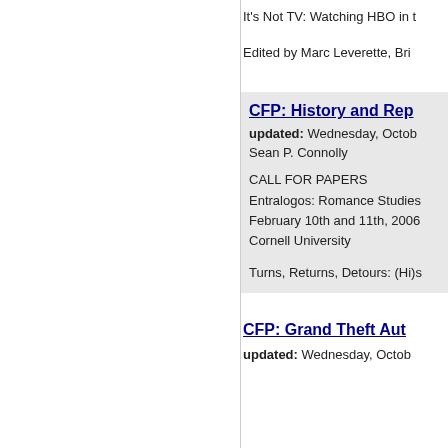It's Not TV: Watching HBO in t
Edited by Marc Leverette, Bri
CFP: History and Rep
updated: Wednesday, Octob
Sean P. Connolly
CALL FOR PAPERS
Entralogos: Romance Studies
February 10th and 11th, 2006
Cornell University
Turns, Returns, Detours: (Hi)s
CFP: Grand Theft Aut
updated: Wednesday, Octob